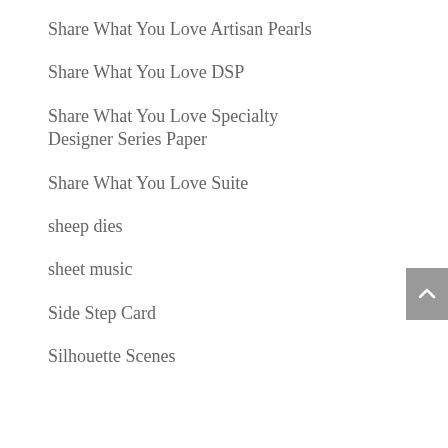Share What You Love Artisan Pearls
Share What You Love DSP
Share What You Love Specialty Designer Series Paper
Share What You Love Suite
sheep dies
sheet music
Side Step Card
Silhouette Scenes